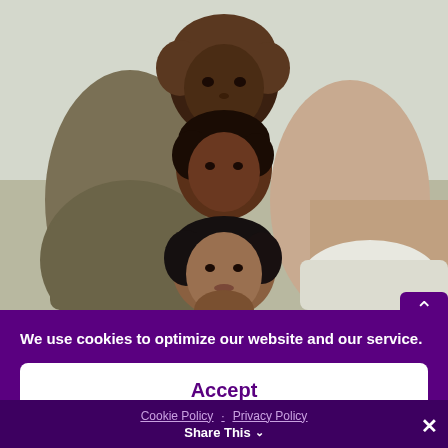[Figure (photo): Three women of different ethnicities lying close together with their heads touching, looking at the camera against a light background.]
We use cookies to optimize our website and our service.
Accept
Cookie Policy · Privacy Policy
Share This